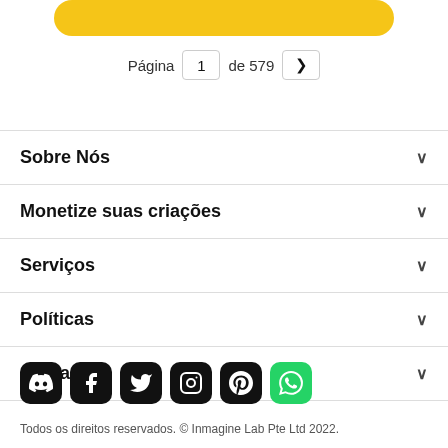[Figure (other): Yellow rounded button at top]
Página  1  de 579  >
Sobre Nós
Monetize suas criações
Serviços
Políticas
Ajuda
[Figure (other): Social media icons row: Discord, Facebook, Twitter, Instagram, Pinterest, WhatsApp]
Todos os direitos reservados. © Inmagine Lab Pte Ltd 2022.